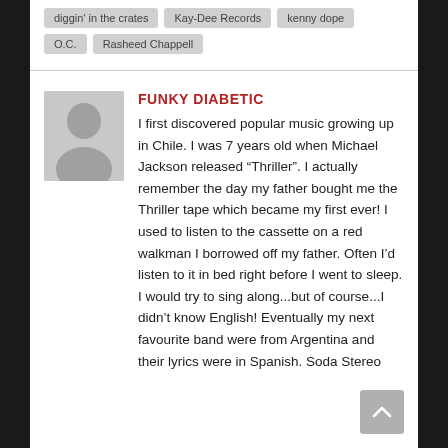diggin' in the crates
Kay-Dee Records
kenny dope
O.C.
Rasheed Chappell
FUNKY DIABETIC
I first discovered popular music growing up in Chile. I was 7 years old when Michael Jackson released “Thriller”. I actually remember the day my father bought me the Thriller tape which became my first ever! I used to listen to the cassette on a red walkman I borrowed off my father. Often I’d listen to it in bed right before I went to sleep. I would try to sing along...but of course...I didn’t know English! Eventually my next favourite band were from Argentina and their lyrics were in Spanish. Soda Stereo